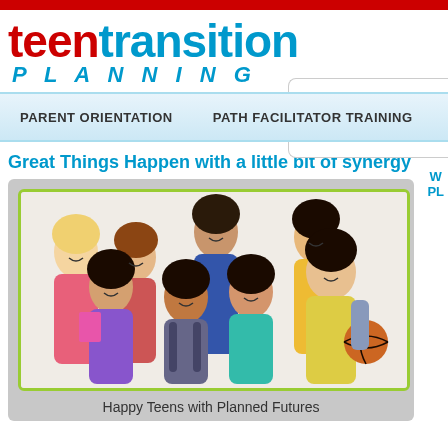teen transition PLANNING
1. W PL
PARENT ORIENTATION
PATH FACILITATOR TRAINING
Great Things Happen with a little bit of synergy
[Figure (photo): Group photo of happy diverse teenagers smiling, some holding backpacks and a basketball]
Happy Teens with Planned Futures